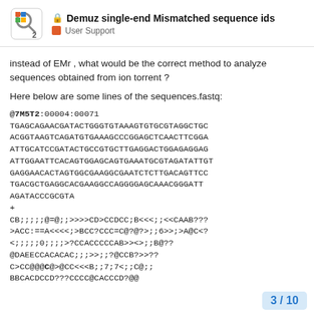Demuz single-end Mismatched sequence ids | User Support
instead of EMr , what would be the correct method to analyze sequences obtained from ion torrent ?
Here below are some lines of the sequences.fastq:
@7M5T2:00004:00071
TGAGCAGAACGATACTGGGTGTAAAGTGTGCGTAGGCTGC
ACGGTAAGTCAGATGTGAAAGCCCGGAGCTCAACTTCGGA
ATTGCATCCGATACTGCCGTGCTTGAGGACTGGAGAGGAG
ATTGGAATTCACAGTGGAGCAGTGAAATGCGTAGATATTGT
GAGGAACACTAGTGGCGAAGGCGAATCTCTTGACAGTTCC
TGACGCTGAGGCACGAAGGCCAGGGGAGCAAACGGGATT
AGATACCCGCGTA
+
CB;;;;;@=@;;>>>>CD>CCDCC;B<<<;;<<CAAB???
>ACC:==A<<<<;>BCC?CCC=C@?@?>;;6>>;>A@C<?
<;;;;;0;;;;>?CCACCCCCAB>><>;;B@??
@DAEECCACACAC;;;>>;;?@CCB?>>??
C>CC@@@C@>@CC<<<B;;7;7<;;;C@;;
BBCADCCD???CCCC@CACCCD?@@